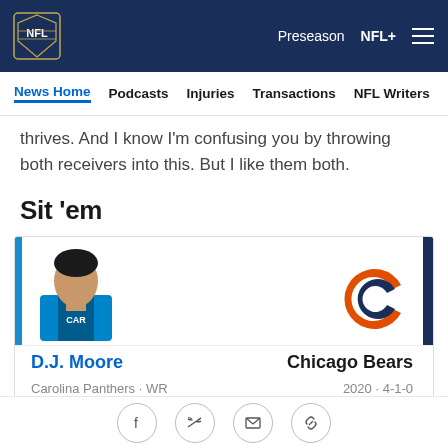NFL logo | Preseason | NFL+ | Menu
News Home | Podcasts | Injuries | Transactions | NFL Writers | Se...
thrives. And I know I'm confusing you by throwing both receivers into this. But I like them both.
Sit 'em
[Figure (infographic): Player card for D.J. Moore (Carolina Panthers · WR) vs Chicago Bears (2020 · 4-1-0). Features player headshot and Bears team logo.]
Moore has been a huge disappointment this season
Social share icons: Facebook, Twitter, Email, Link